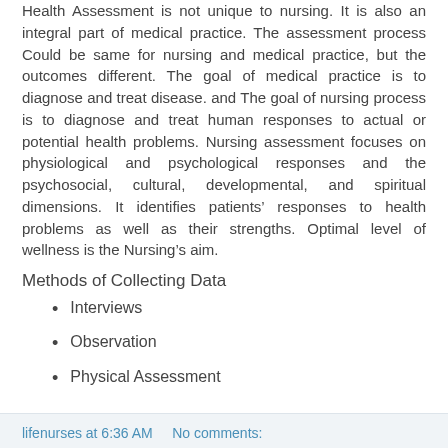Health Assessment is not unique to nursing. It is also an integral part of medical practice. The assessment process Could be same for nursing and medical practice, but the outcomes different. The goal of medical practice is to diagnose and treat disease. and The goal of nursing process is to diagnose and treat human responses to actual or potential health problems. Nursing assessment focuses on physiological and psychological responses and the psychosocial, cultural, developmental, and spiritual dimensions. It identifies patients' responses to health problems as well as their strengths. Optimal level of wellness is the Nursing's aim.
Methods of Collecting Data
Interviews
Observation
Physical Assessment
lifenurses at 6:36 AM    No comments: